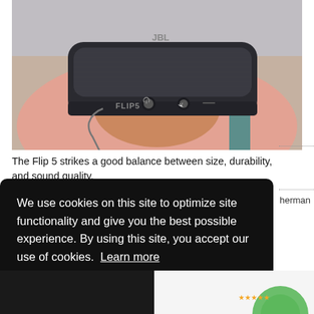[Figure (photo): A person holding a JBL Flip 5 portable Bluetooth speaker in dark grey/black color, with a braided strap. The speaker label 'FLIP5' is visible. The person is wearing a pink top and a teal bag strap is visible in the background.]
The Flip 5 strikes a good balance between size, durability, and sound quality.
herman
We use cookies on this site to optimize site functionality and give you the best possible experience. By using this site, you accept our use of cookies.  Learn more
Got it!
[Figure (photo): Bottom strip showing partial product images, with a dark left section and a green/white element on the bottom right.]